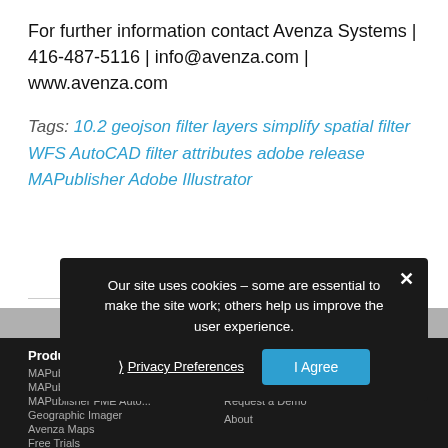For further information contact Avenza Systems | 416-487-5116 | info@avenza.com | www.avenza.com
Tags: 10.2 geojson filter layers simplify spatial filter WFS AutoCAD filter attributes adobe release MAPublisher Adobe Illustrator
Our site uses cookies – some are essential to make the site work; others help us improve the user experience.
Privacy Preferences
I Agree
Products | MAPublisher | MAPublisher LabelPro | MAPublisher FME Auto... | Geographic Imager | Avenza Maps | Free Trials | Knowledge and... | Purchase | Checkout | Find a Reseller | Request a Demo | About